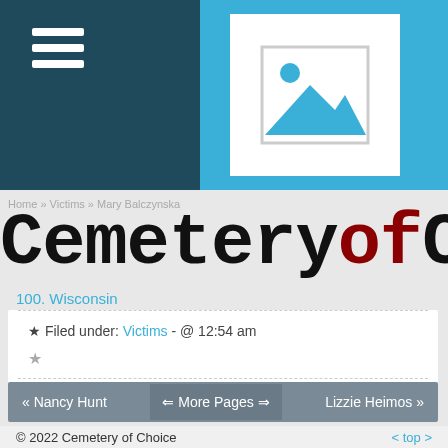[Figure (screenshot): Website header with dark teal menu panel on left with hamburger icon, and a sky-blue area with image placeholder icon (mountains and sun) on right]
Home » Victims » Mary Balczynska
CemeteryofCh
100. Wisconsin
★ Filed under: Victims - @ 12:54 am
★
« Nancy Hunt  ⇐ More Pages ⇒  Lizzie Heimos »
© 2022 Cemetery of Choice    < top >